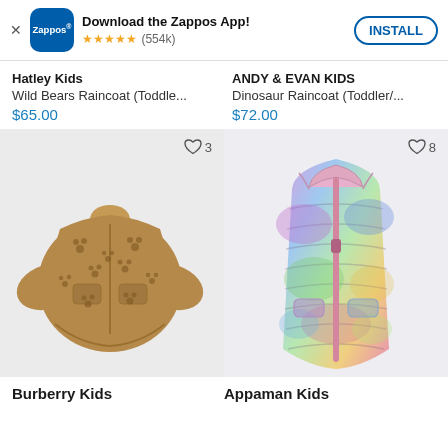[Figure (screenshot): Zappos app download banner with logo, star rating (554k reviews), and INSTALL button]
Hatley Kids
Wild Bears Raincoat (Toddle...
$65.00
ANDY & EVAN KIDS
Dinosaur Raincoat (Toddler/...
$72.00
[Figure (photo): Burberry Kids tan/brown jacket with allover bear print pattern, heart wishlist icon with count 3]
[Figure (photo): Appaman Kids rainbow tie-dye puffer vest with pink zipper, heart wishlist icon with count 8]
Burberry Kids
Appaman Kids